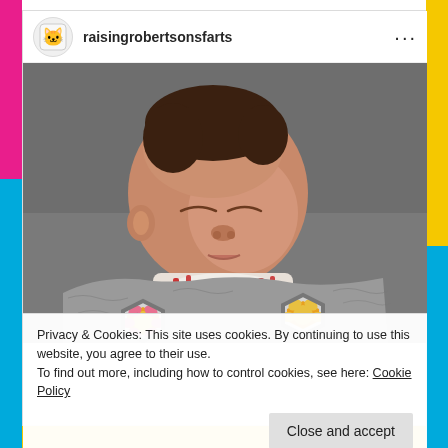raisingrobertsonsfarts
[Figure (photo): Sleeping newborn baby wrapped in a grey, pink, and yellow crocheted blanket with hexagon flower patterns. Baby is wearing a white onesie with red detail. Background is grey.]
Privacy & Cookies: This site uses cookies. By continuing to use this website, you agree to their use.
To find out more, including how to control cookies, see here: Cookie Policy
Close and accept